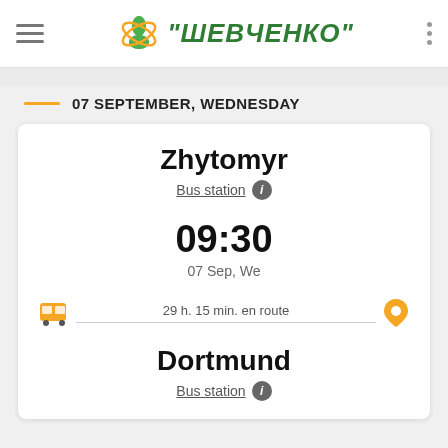"ШЕВЧЕНКО" - logo header with hamburger menu
07 SEPTEMBER, WEDNESDAY
Zhytomyr
Bus station
09:30
07 Sep, We
29 h. 15 min. en route
Dortmund
Bus station